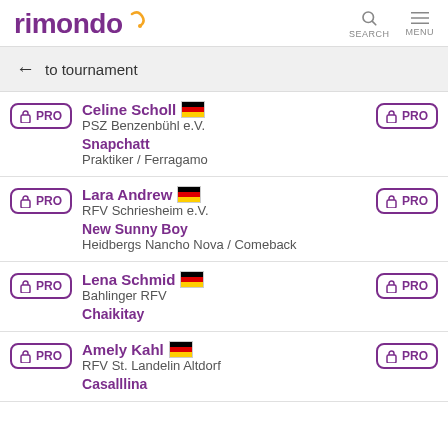rimondo — SEARCH MENU
← to tournament
PRO | Celine Scholl 🇩🇪 | PSZ Benzenbühl e.V. | Snapchatt | Praktiker / Ferragamo | PRO
PRO | Lara Andrew 🇩🇪 | RFV Schriesheim e.V. | New Sunny Boy | Heidbergs Nancho Nova / Comeback | PRO
PRO | Lena Schmid 🇩🇪 | Bahlinger RFV | Chaikitay | PRO
PRO | Amely Kahl 🇩🇪 | RFV St. Landelin Altdorf | Casalllina | PRO